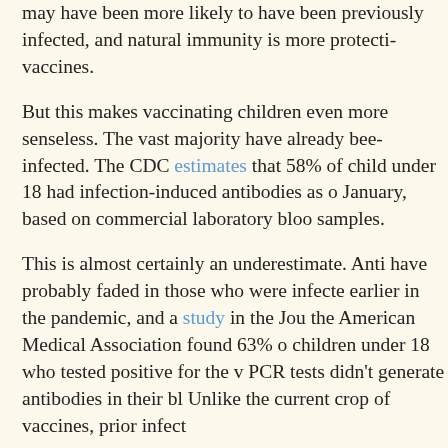may have been more likely to have been previously infected, and natural immunity is more protective than vaccines.
But this makes vaccinating children even more senseless. The vast majority have already been infected. The CDC estimates that 58% of children under 18 had infection-induced antibodies as of January, based on commercial laboratory blood samples.
This is almost certainly an underestimate. Antibodies have probably faded in those who were infected earlier in the pandemic, and a study in the Journal of the American Medical Association found 63% of children under 18 who tested positive for the virus via PCR tests didn't generate antibodies in their blood. Unlike the current crop of vaccines, prior infect...